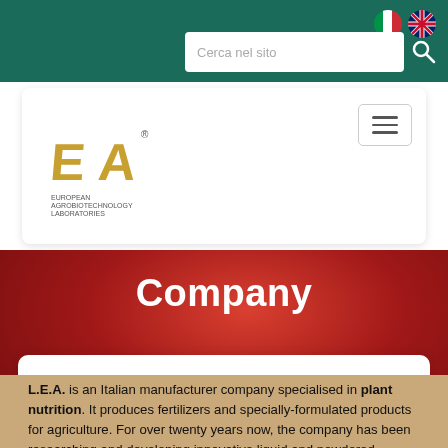[Figure (screenshot): Website screenshot of L.E.A. (European Agrobiotechnology Laboratories) company page showing navigation bar with Italian and UK flags, search box, logo, hamburger menu, 'Company' heading on red gradient background, and introductory text about the company.]
Cerca nel sito
[Figure (logo): L.E.A. European Agrobiotechnology Laboratories logo with gold letters and EU stars circle on white background]
Company
L.E.A. is an Italian manufacturer company specialised in plant nutrition. It produces fertilizers and specially-formulated products for agriculture. For over twenty years now, the company has been researching and developing innovative liquid and powdered fertilizer lines, standard and NPK, single and complex meso and micro elements, humic extracts, organic fertilizers, and